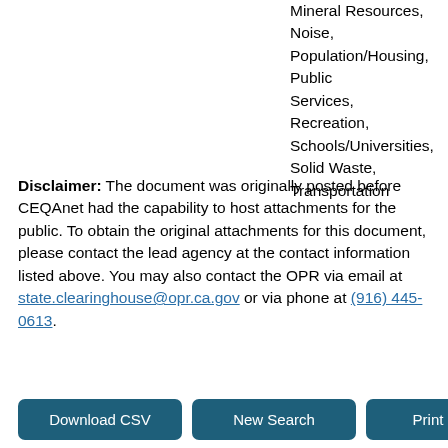Mineral Resources, Noise, Population/Housing, Public Services, Recreation, Schools/Universities, Solid Waste, Transportation
Disclaimer: The document was originally posted before CEQAnet had the capability to host attachments for the public. To obtain the original attachments for this document, please contact the lead agency at the contact information listed above. You may also contact the OPR via email at state.clearinghouse@opr.ca.gov or via phone at (916) 445-0613.